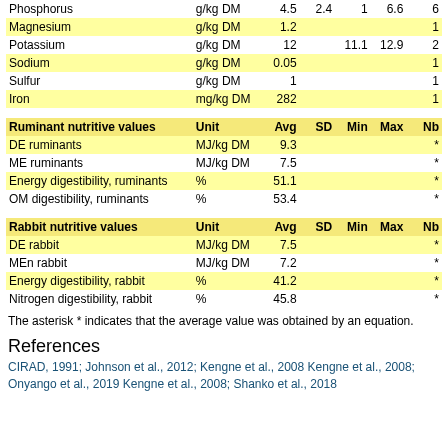|  | Unit | Avg | SD | Min | Max | Nb |
| --- | --- | --- | --- | --- | --- | --- |
| Phosphorus | g/kg DM | 4.5 | 2.4 | 1 | 6.6 | 6 |
| Magnesium | g/kg DM | 1.2 |  |  |  | 1 |
| Potassium | g/kg DM | 12 |  | 11.1 | 12.9 | 2 |
| Sodium | g/kg DM | 0.05 |  |  |  | 1 |
| Sulfur | g/kg DM | 1 |  |  |  | 1 |
| Iron | mg/kg DM | 282 |  |  |  | 1 |
| Ruminant nutritive values | Unit | Avg | SD | Min | Max | Nb |
| --- | --- | --- | --- | --- | --- | --- |
| DE ruminants | MJ/kg DM | 9.3 |  |  |  | * |
| ME ruminants | MJ/kg DM | 7.5 |  |  |  | * |
| Energy digestibility, ruminants | % | 51.1 |  |  |  | * |
| OM digestibility, ruminants | % | 53.4 |  |  |  | * |
| Rabbit nutritive values | Unit | Avg | SD | Min | Max | Nb |
| --- | --- | --- | --- | --- | --- | --- |
| DE rabbit | MJ/kg DM | 7.5 |  |  |  | * |
| MEn rabbit | MJ/kg DM | 7.2 |  |  |  | * |
| Energy digestibility, rabbit | % | 41.2 |  |  |  | * |
| Nitrogen digestibility, rabbit | % | 45.8 |  |  |  | * |
The asterisk * indicates that the average value was obtained by an equation.
References
CIRAD, 1991; Johnson et al., 2012; Kengne et al., 2008 Kengne et al., 2008; Onyango et al., 2019 Kengne et al., 2008; Shanko et al., 2018